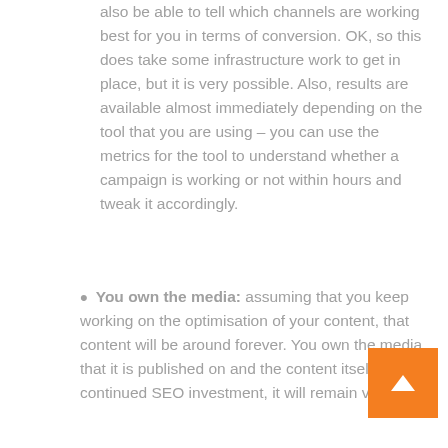also be able to tell which channels are working best for you in terms of conversion. OK, so this does take some infrastructure work to get in place, but it is very possible. Also, results are available almost immediately depending on the tool that you are using – you can use the metrics for the tool to understand whether a campaign is working or not within hours and tweak it accordingly.
You own the media: assuming that you keep working on the optimisation of your content, that content will be around forever. You own the media that it is published on and the content itself. With continued SEO investment, it will remain visible
[Figure (other): Orange back-to-top button with white upward arrow]